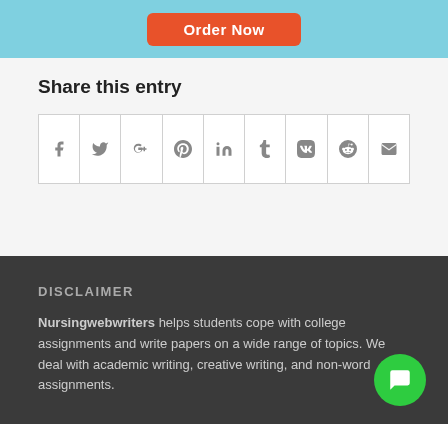[Figure (other): Light blue banner with orange Order Now button at top]
Share this entry
[Figure (other): Row of social media share icons: Facebook, Twitter, Google+, Pinterest, LinkedIn, Tumblr, VK, Reddit, Email]
DISCLAIMER
Nursingwebwriters helps students cope with college assignments and write papers on a wide range of topics. We deal with academic writing, creative writing, and non-word assignments.